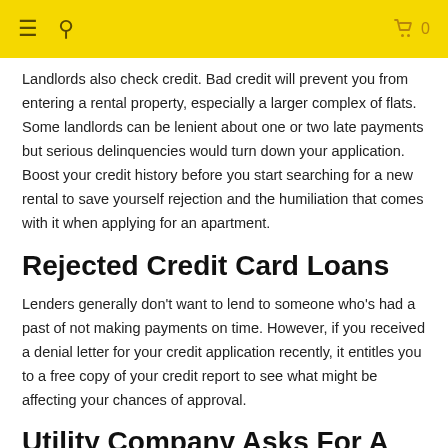≡ 🔍  🛍 0
Landlords also check credit. Bad credit will prevent you from entering a rental property, especially a larger complex of flats. Some landlords can be lenient about one or two late payments but serious delinquencies would turn down your application. Boost your credit history before you start searching for a new rental to save yourself rejection and the humiliation that comes with it when applying for an apartment.
Rejected Credit Card Loans
Lenders generally don't want to lend to someone who's had a past of not making payments on time. However, if you received a denial letter for your credit application recently, it entitles you to a free copy of your credit report to see what might be affecting your chances of approval.
Utility Company Asks For A Deposit